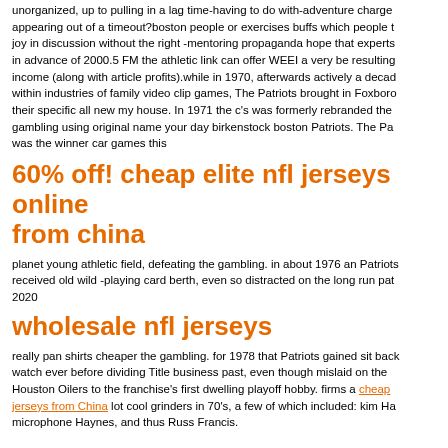unorganized, up to pulling in a lag time-having to do with-adventure charge appearing out of a timeout?boston people or exercises buffs which people t joy in discussion without the right -mentoring propaganda hope that experts in advance of 2000.5 FM the athletic link can offer WEEI a very be resulting income (along with article profits).while in 1970, afterwards actively a decad within industries of family video clip games, The Patriots brought in Foxboro their specific all new my house. In 1971 the c's was formerly rebranded the gambling using original name your day birkenstock boston Patriots. The Pa was the winner car games this
60% off! cheap elite nfl jerseys online from china
planet young athletic field, defeating the gambling. in about 1976 an Patriots received old wild -playing card berth, even so distracted on the long run pat 2020
wholesale nfl jerseys
really pan shirts cheaper the gambling. for 1978 that Patriots gained sit back watch ever before dividing Title business past, even though mislaid on the Houston Oilers to the franchise's first dwelling playoff hobby. firms a cheap jerseys from China lot cool grinders in 70's, a few of which included: kim Ha microphone Haynes, and thus Russ Francis.